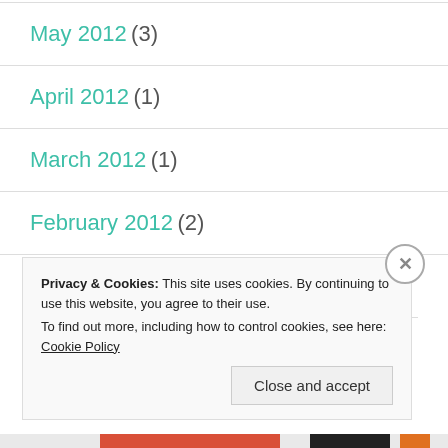May 2012 (3)
April 2012 (1)
March 2012 (1)
February 2012 (2)
January 2012 (2)
Privacy & Cookies: This site uses cookies. By continuing to use this website, you agree to their use.
To find out more, including how to control cookies, see here: Cookie Policy
Close and accept